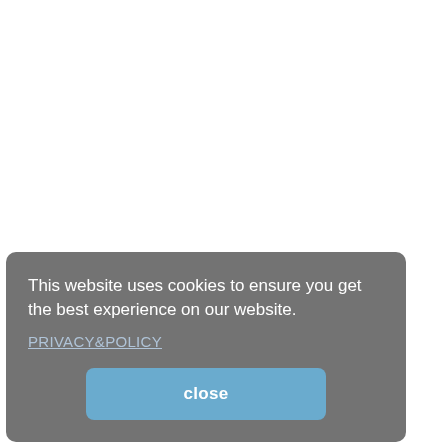This website uses cookies to ensure you get the best experience on our website.
PRIVACY&POLICY
close